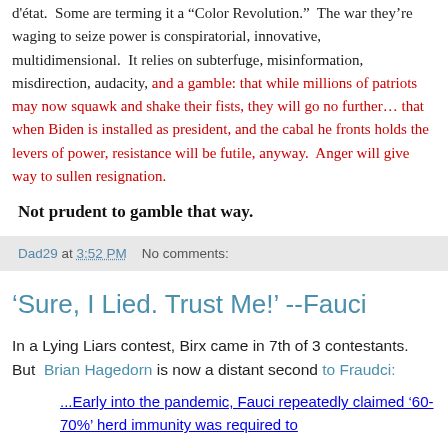d'état.  Some are terming it a “Color Revolution.”  The war they’re waging to seize power is conspiratorial, innovative, multidimensional.  It relies on subterfuge, misinformation, misdirection, audacity, and a gamble: that while millions of patriots may now squawk and shake their fists, they will go no further… that when Biden is installed as president, and the cabal he fronts holds the levers of power, resistance will be futile, anyway.  Anger will give way to sullen resignation.
Not prudent to gamble that way.
Dad29 at 3:52 PM    No comments:
'Sure, I Lied. Trust Me!' --Fauci
In a Lying Liars contest, Birx came in 7th of 3 contestants.  But  Brian Hagedorn is now a distant second to Fraudci:
...Early into the pandemic, Fauci repeatedly claimed '60-70%' herd immunity was required to